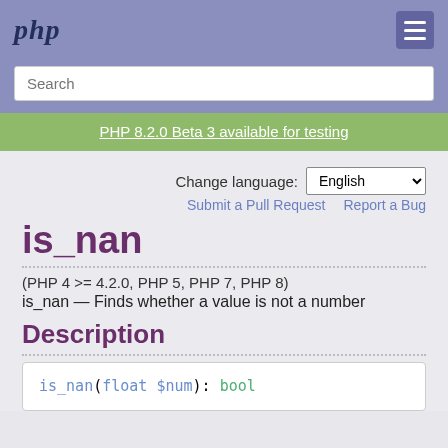php
Search
PHP 8.2.0 Beta 3 available for testing
Change language: English
Submit a Pull Request   Report a Bug
is_nan
(PHP 4 >= 4.2.0, PHP 5, PHP 7, PHP 8)
is_nan — Finds whether a value is not a number
Description
is_nan(float $num): bool